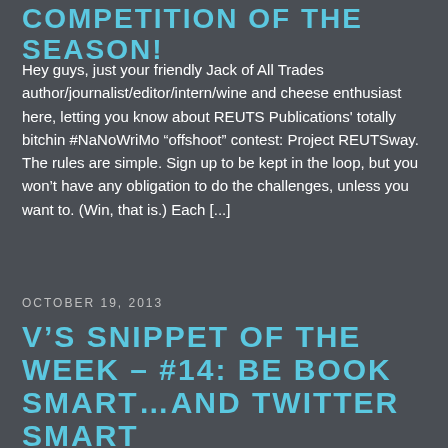COMPETITION OF THE SEASON!
Hey guys, just your friendly Jack of All Trades author/journalist/editor/intern/wine and cheese enthusiast here, letting you know about REUTS Publications' totally bitchin #NaNoWriMo “offshoot” contest: Project REUTSway. The rules are simple. Sign up to be kept in the loop, but you won’t have any obligation to do the challenges, unless you want to. (Win, that is.) Each [...]
OCTOBER 19, 2013
V’S SNIPPET OF THE WEEK – #14: BE BOOK SMART…AND TWITTER SMART